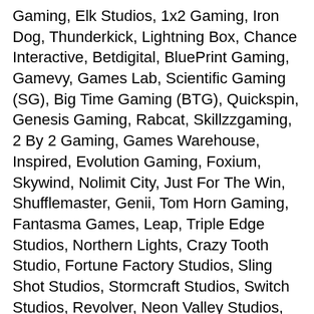Gaming, Elk Studios, 1x2 Gaming, Iron Dog, Thunderkick, Lightning Box, Chance Interactive, Betdigital, BluePrint Gaming, Gamevy, Games Lab, Scientific Gaming (SG), Big Time Gaming (BTG), Quickspin, Genesis Gaming, Rabcat, Skillzzgaming, 2 By 2 Gaming, Games Warehouse, Inspired, Evolution Gaming, Foxium, Skywind, Nolimit City, Just For The Win, Shufflemaster, Genii, Tom Horn Gaming, Fantasma Games, Leap, Triple Edge Studios, Northern Lights, Crazy Tooth Studio, Fortune Factory Studios, Sling Shot Studios, Stormcraft Studios, Switch Studios, Revolver, Neon Valley Studios, Pulse 8, GameBurgerStudios, All41Studios, AlchemyGaming, Snowborn Games, Neko Games
Language:
Restricted Countries: